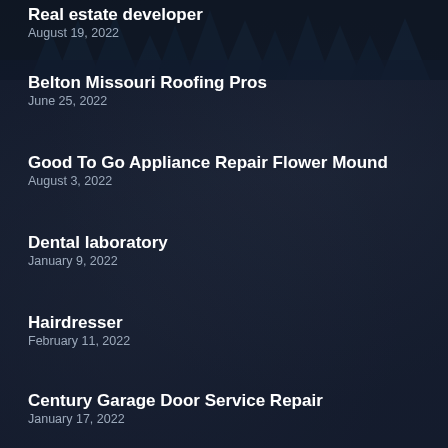Real estate developer
August 19, 2022
Belton Missouri Roofing Pros
June 25, 2022
Good To Go Appliance Repair Flower Mound
August 3, 2022
Dental laboratory
January 9, 2022
Hairdresser
February 11, 2022
Century Garage Door Service Repair
January 17, 2022